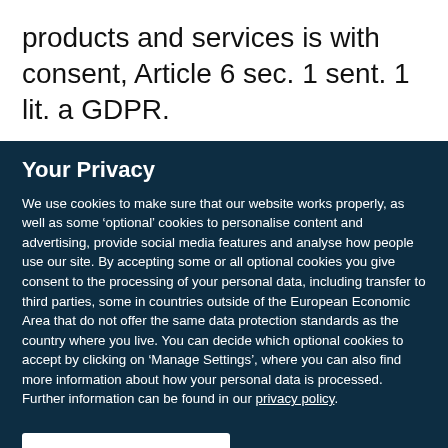products and services is with consent, Article 6 sec. 1 sent. 1 lit. a GDPR.
Your Privacy
We use cookies to make sure that our website works properly, as well as some ‘optional’ cookies to personalise content and advertising, provide social media features and analyse how people use our site. By accepting some or all optional cookies you give consent to the processing of your personal data, including transfer to third parties, some in countries outside of the European Economic Area that do not offer the same data protection standards as the country where you live. You can decide which optional cookies to accept by clicking on ‘Manage Settings’, where you can also find more information about how your personal data is processed. Further information can be found in our privacy policy.
Accept all cookies
Manage preferences